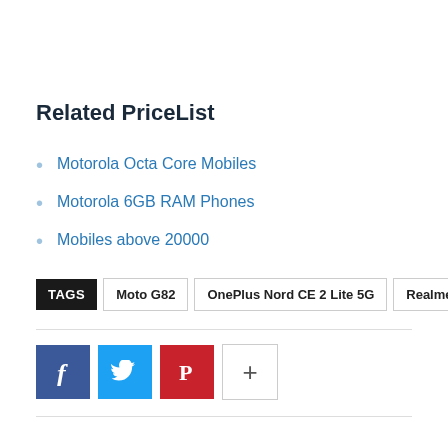Related PriceList
Motorola Octa Core Mobiles
Motorola 6GB RAM Phones
Mobiles above 20000
TAGS  Moto G82  OnePlus Nord CE 2 Lite 5G  Realme 9 Pro Plus
[Figure (other): Social share buttons: Facebook, Twitter, Pinterest, More (+)]